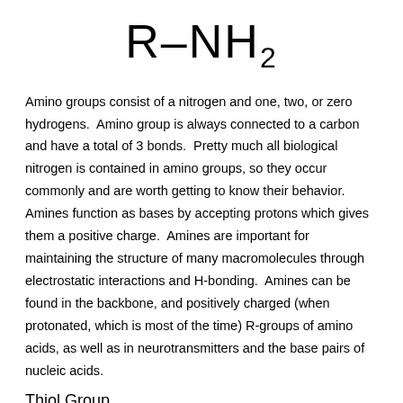Amino groups consist of a nitrogen and one, two, or zero hydrogens.  Amino group is always connected to a carbon and have a total of 3 bonds.  Pretty much all biological nitrogen is contained in amino groups, so they occur commonly and are worth getting to know their behavior.  Amines function as bases by accepting protons which gives them a positive charge.  Amines are important for maintaining the structure of many macromolecules through electrostatic interactions and H-bonding.  Amines can be found in the backbone, and positively charged (when protonated, which is most of the time) R-groups of amino acids, as well as in neurotransmitters and the base pairs of nucleic acids.
Thiol Group